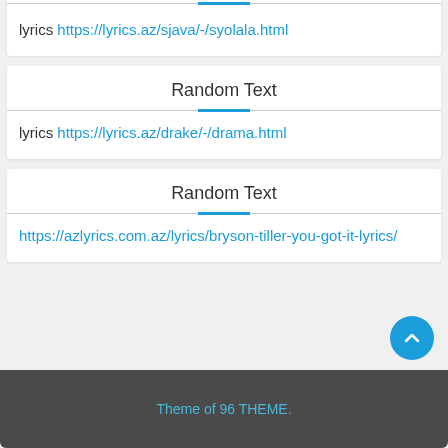Random Text
lyrics https://lyrics.az/sjava/-/syolala.html
Random Text
lyrics https://lyrics.az/drake/-/drama.html
Random Text
https://azlyrics.com.az/lyrics/bryson-tiller-you-got-it-lyrics/
Theme of 96 THEME.